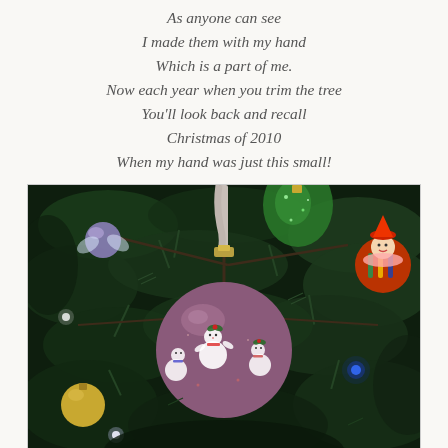As anyone can see
I made them with my hand
Which is a part of me.
Now each year when you trim the tree
You'll look back and recall
Christmas of 2010
When my hand was just this small!
[Figure (photo): A purple/mauve Christmas ornament ball decorated with handprint snowmen designs, hanging on a Christmas tree with a white ribbon. Other ornaments visible in the background including a sparkly green ornament, a clown/elf figure, and a gold ball. Christmas tree lights visible.]